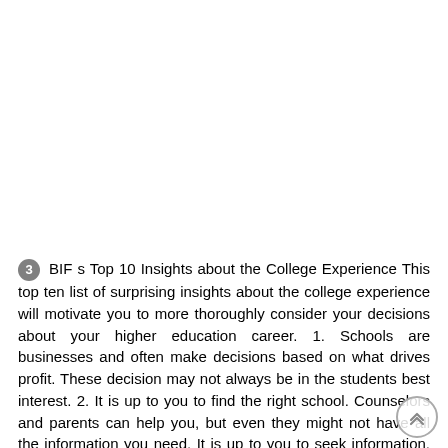3 BIF s Top 10 Insights about the College Experience This top ten list of surprising insights about the college experience will motivate you to more thoroughly consider your decisions about your higher education career. 1. Schools are businesses and often make decisions based on what drives profit. These decision may not always be in the students best interest. 2. It is up to you to find the right school. Counselors and parents can help you, but even they might not have all the information you need. It is up to you to seek information, ask questions and honestly evaluate if and how a school can meet your needs. Taking your general education courses at a community